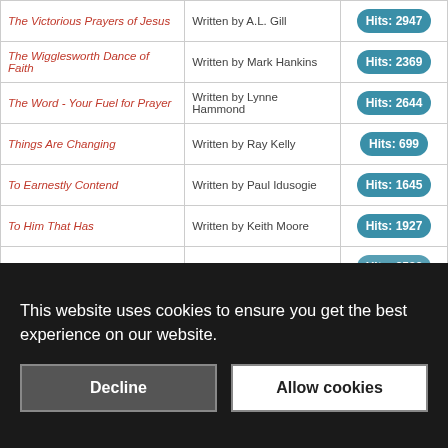| Title | Author | Hits |
| --- | --- | --- |
| The Victorious Prayers of Jesus | Written by A.L. Gill | Hits: 2947 |
| The Wigglesworth Dance of Faith | Written by Mark Hankins | Hits: 2369 |
| The Word - Your Fuel for Prayer | Written by Lynne Hammond | Hits: 2644 |
| Things Are Changing | Written by Ray Kelly | Hits: 699 |
| To Earnestly Contend | Written by Paul Idusogie | Hits: 1645 |
| To Him That Has | Written by Keith Moore | Hits: 1927 |
| To Walk With Him 1 | Written by Terri | Hits: 2523 |
This website uses cookies to ensure you get the best experience on our website.